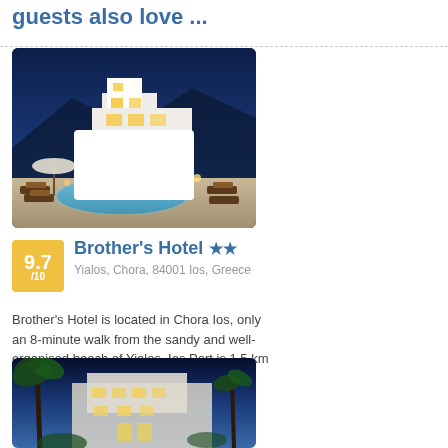guests also love ...
[Figure (photo): Night-time photo of Brother's Hotel with illuminated pool and white building]
9.7 /10
Brother's Hotel ★★
Yialos, Chora, 84001 Ios, Greece
Brother's Hotel is located in Chora Ios, only an 8-minute walk from the sandy and well-organised beach of Yialos. Ios Port is 1.5 km away.
[Figure (photo): Night-time photo of a hotel with palm trees and illuminated facade]